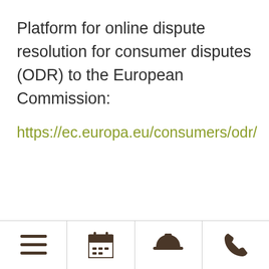Platform for online dispute resolution for consumer disputes (ODR) to the European Commission:
https://ec.europa.eu/consumers/odr/
[menu icon] [calendar icon] [service bell icon] [phone icon]